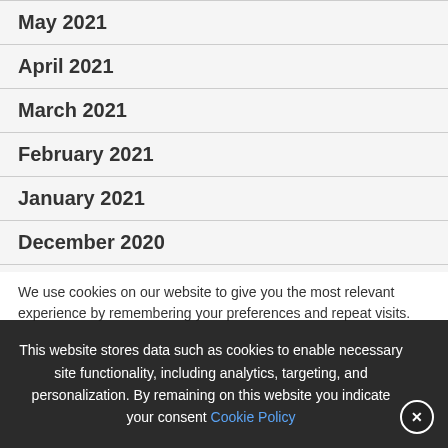May 2021
April 2021
March 2021
February 2021
January 2021
December 2020
We use cookies on our website to give you the most relevant experience by remembering your preferences and repeat visits. By clicking “Accept All”, you consent to the use of ALL the cookies. However, you may visit “Cookie Settings” to provide a controlled consent.
This website stores data such as cookies to enable necessary site functionality, including analytics, targeting, and personalization. By remaining on this website you indicate your consent Cookie Policy